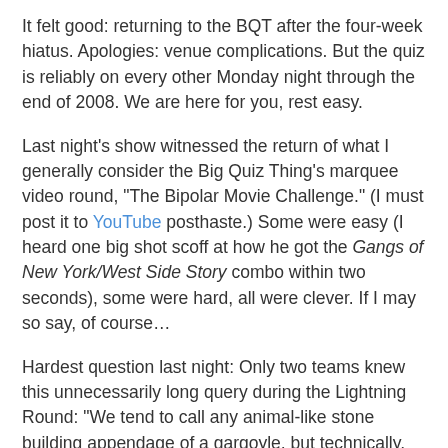It felt good: returning to the BQT after the four-week hiatus. Apologies: venue complications. But the quiz is reliably on every other Monday night through the end of 2008. We are here for you, rest easy.
Last night's show witnessed the return of what I generally consider the Big Quiz Thing's marquee video round, "The Bipolar Movie Challenge." (I must post it to YouTube posthaste.) Some were easy (I heard one big shot scoff at how he got the Gangs of New York/West Side Story combo within two seconds), some were hard, all were clever. If I may so say, of course…
Hardest question last night: Only two teams knew this unnecessarily long query during the Lightning Round: "We tend to call any animal-like stone building appendage of a gargoyle, but technically, gargoyles serve as waterspouts. If it doesn't channel water, it's technically known as a what?" Some logical guesses (statue, buttress, caryatid), but few got it on the menacing, hauntingly misshapen nose.
Easiest question: "At the very beginning of this year's vice